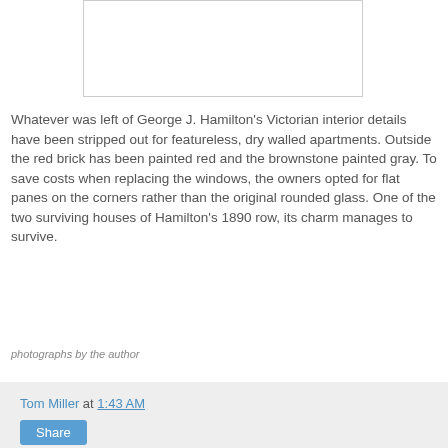[Figure (photo): Photograph placeholder of a building]
Whatever was left of George J. Hamilton's Victorian interior details have been stripped out for featureless, dry walled apartments.  Outside the red brick has been painted red and the brownstone painted gray.  To save costs when replacing the windows, the owners opted for flat panes on the corners rather than the original rounded glass.  One of the two surviving houses of Hamilton's 1890 row, its charm manages to survive.
photographs by the author
Tom Miller at 1:43 AM